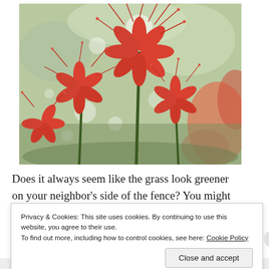[Figure (photo): Close-up photograph of red spider lilies (Lycoris radiata) with long curling stamens, against a blurred green and white bokeh background. Multiple blooms visible at different heights.]
Does it always seem like the grass look greener on your neighbor's side of the fence? You might
Privacy & Cookies: This site uses cookies. By continuing to use this website, you agree to their use.
To find out more, including how to control cookies, see here: Cookie Policy

Close and accept